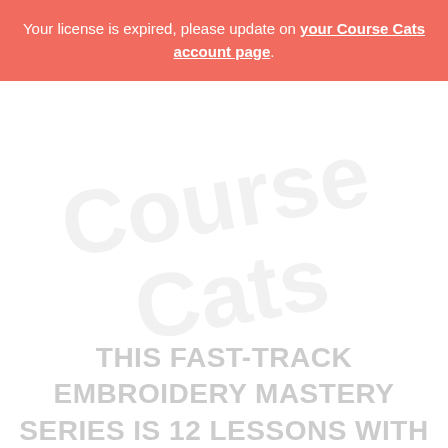Your license is expired, please update on your Course Cats account page.
[Figure (other): Faded watermark text in the background reading 'Course Cats' or similar branding, shown in very light gray]
THIS FAST-TRACK EMBROIDERY MASTERY SERIES IS 12 LESSONS WITH 10 OPTIONAL BONUS LESSONS TOTALING MORE THAN 5 HOURS OF ONLINE EDUCATION.